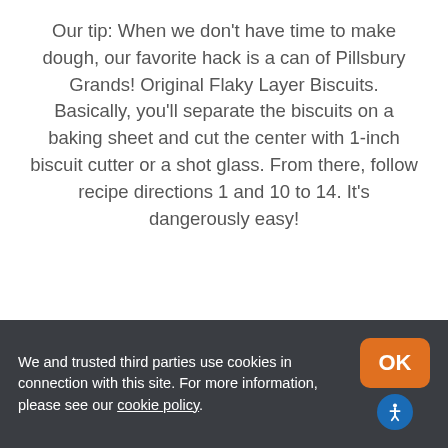Our tip: When we don't have time to make dough, our favorite hack is a can of Pillsbury Grands! Original Flaky Layer Biscuits. Basically, you'll separate the biscuits on a baking sheet and cut the center with 1-inch biscuit cutter or a shot glass. From there, follow recipe directions 1 and 10 to 14. It's dangerously easy!
[Figure (photo): Blurred photo of a white plate and a dark blue mug filled with a light-colored beverage, on a light blue-grey background]
We and trusted third parties use cookies in connection with this site. For more information, please see our cookie policy.